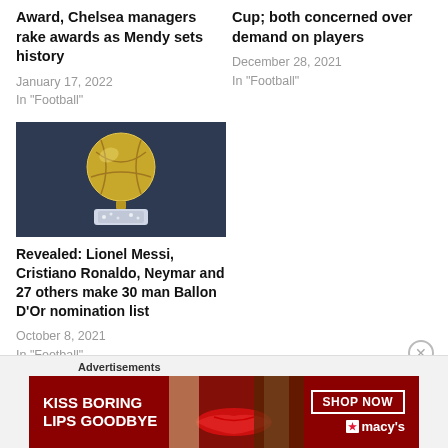Award, Chelsea managers rake awards as Mendy sets history
January 17, 2022
In "Football"
Cup; both concerned over demand on players
December 28, 2021
In "Football"
[Figure (photo): Golden Ballon d'Or trophy on a sparkling base against a dark blue background]
Revealed: Lionel Messi, Cristiano Ronaldo, Neymar and 27 others make 30 man Ballon D'Or nomination list
October 8, 2021
In "Football"
Advertisements
[Figure (photo): Macy's advertisement banner: KISS BORING LIPS GOODBYE with SHOP NOW button and Macy's logo]